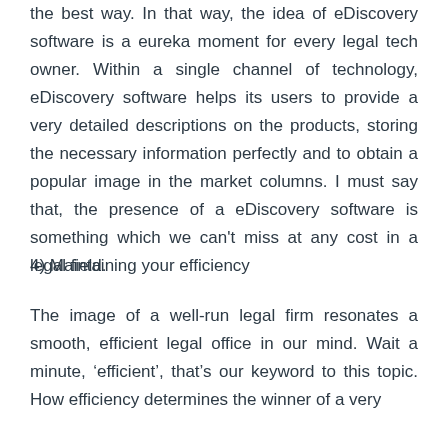the best way. In that way, the idea of eDiscovery software is a eureka moment for every legal tech owner. Within a single channel of technology, eDiscovery software helps its users to provide a very detailed descriptions on the products, storing the necessary information perfectly and to obtain a popular image in the market columns. I must say that, the presence of a eDiscovery software is something which we can't miss at any cost in a legal field.
4) Maintaining your efficiency
The image of a well-run legal firm resonates a smooth, efficient legal office in our mind. Wait a minute, 'efficient', that's our keyword to this topic. How efficiency determines the winner of a very